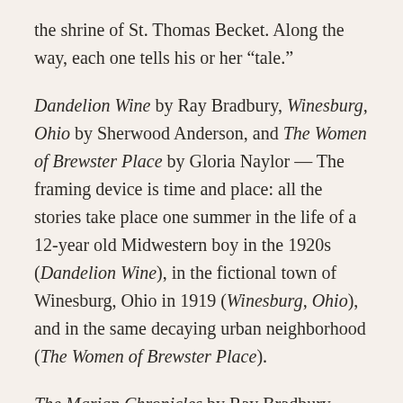the shrine of St. Thomas Becket. Along the way, each one tells his or her “tale.”
Dandelion Wine by Ray Bradbury, Winesburg, Ohio by Sherwood Anderson, and The Women of Brewster Place by Gloria Naylor — The framing device is time and place: all the stories take place one summer in the life of a 12-year old Midwestern boy in the 1920s (Dandelion Wine), in the fictional town of Winesburg, Ohio in 1919 (Winesburg, Ohio), and in the same decaying urban neighborhood (The Women of Brewster Place).
The Marian Chronicles by Ray Bradbury. Stories and vignettes in this collection are linked by their setting